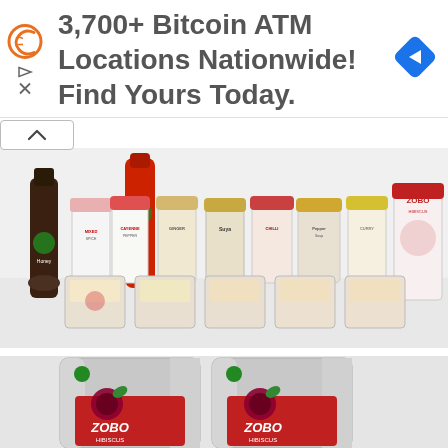[Figure (infographic): Advertisement banner: orange C icon on left with play/close arrows, text '3,700+ Bitcoin ATM Locations Nationwide! Find Yours Today.' in gray, blue navigation diamond arrow icon on right]
[Figure (photo): Product photo showing multiple spice/condiment jars and bottles arranged on white background, including ZOBO Hibiscus, Suya spice, Mixed spice, Ginger, Curry, Pepper Soup, and other products. Several flat pouch packets in front row.]
[Figure (photo): Product photo showing two ZOBO Hibiscus Flowers stand-up pouches with metallic silver packaging, red branding showing a dark hibiscus drink with green leaf garnish. Text on packages reads 'ZOBO HIBISCUS FLOWERS'.]